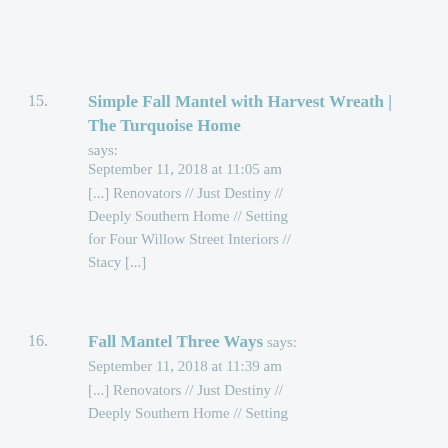15. Simple Fall Mantel with Harvest Wreath | The Turquoise Home says: September 11, 2018 at 11:05 am [...] Renovators // Just Destiny // Deeply Southern Home // Setting for Four Willow Street Interiors // Stacy [...]
16. Fall Mantel Three Ways says: September 11, 2018 at 11:39 am [...] Renovators // Just Destiny // Deeply Southern Home // Setting